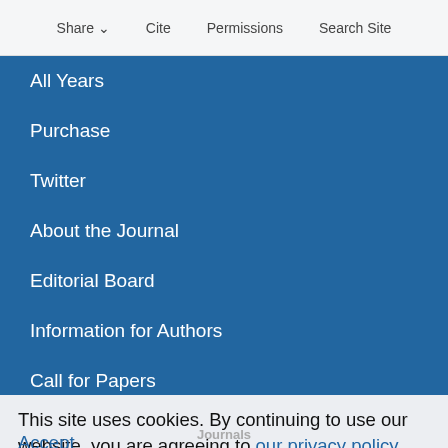Share  Cite  Permissions  Search Site
All Years
Purchase
Twitter
About the Journal
Editorial Board
Information for Authors
Call for Papers
Rights and Permission
Online ISSN 1528-8897  Print ISSN 0742-4787
This site uses cookies. By continuing to use our website, you are agreeing to our privacy policy.
Accept
Journals